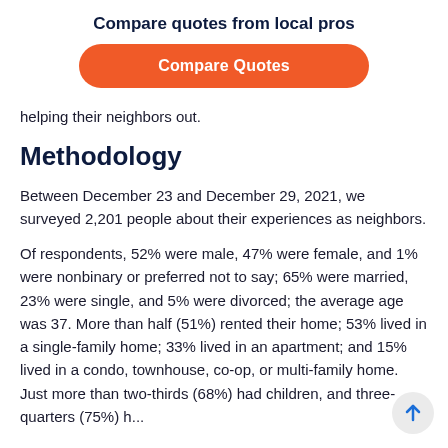Compare quotes from local pros
[Figure (other): Orange pill-shaped button labeled 'Compare Quotes']
helping their neighbors out.
Methodology
Between December 23 and December 29, 2021, we surveyed 2,201 people about their experiences as neighbors.
Of respondents, 52% were male, 47% were female, and 1% were nonbinary or preferred not to say; 65% were married, 23% were single, and 5% were divorced; the average age was 37. More than half (51%) rented their home; 53% lived in a single-family home; 33% lived in an apartment; and 15% lived in a condo, townhouse, co-op, or multi-family home. Just more than two-thirds (68%) had children, and three-quarters (75%) h...